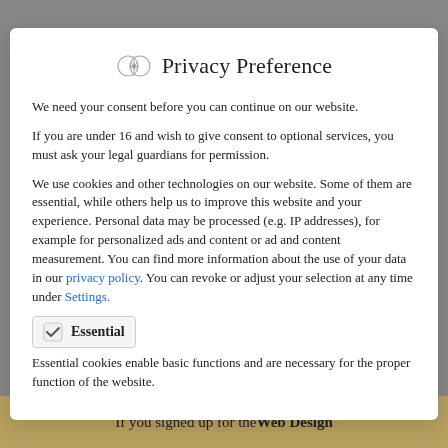Privacy Preference
We need your consent before you can continue on our website.
If you are under 16 and wish to give consent to optional services, you must ask your legal guardians for permission.
We use cookies and other technologies on our website. Some of them are essential, while others help us to improve this website and your experience. Personal data may be processed (e.g. IP addresses), for example for personalized ads and content or ad and content measurement. You can find more information about the use of your data in our privacy policy. You can revoke or adjust your selection at any time under Settings.
Essential
Essential cookies enable basic functions and are necessary for the proper function of the website.
If you signed up for the Web Design